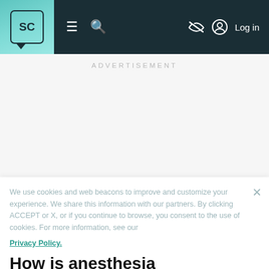SC [logo] ☰ 🔍 [eye-slash] Log in
Advertisement
We use cookies and web beacons to improve and customize your experience. We share this information with our partners. By clicking ACCEPT or X, or if you continue to browse, you consent to the use of cookies. For more information, see our Privacy Policy.
How is anesthesia administered?
Anesthesia can be administered in several